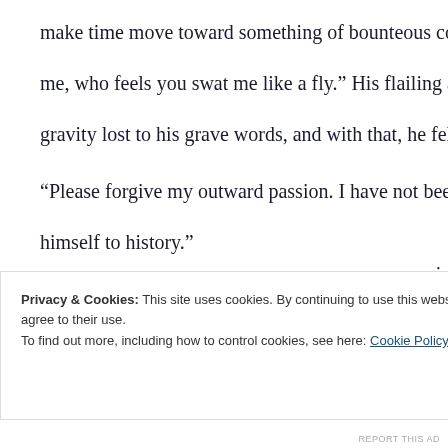make time move toward something of bounteous conflagration c me, who feels you swat me like a fly.” His flailing arms could h gravity lost to his grave words, and with that, he fell over flat.
“Please forgive my outward passion. I have not been ‘on the job himself to history.”
“Holy crap,” I thought. “You have been retired that long? We m you out of the Globe. Here is some mead for you then,” I said le
“I know what port is,” he sniped. “Gimme that,” and he grabbe
We spent the rest of his time with me, as he did have other ‘case
Privacy & Cookies: This site uses cookies. By continuing to use this website, you agree to their use.
To find out more, including how to control cookies, see here: Cookie Policy
Close and accept
REPORT THIS AD